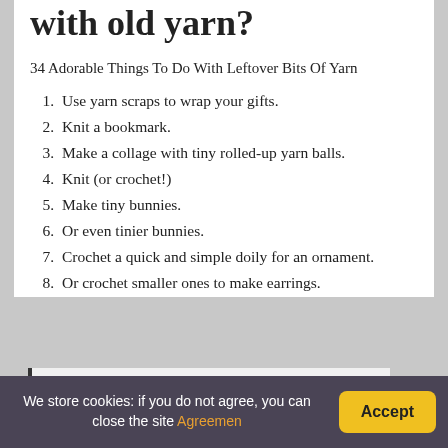with old yarn?
34 Adorable Things To Do With Leftover Bits Of Yarn
Use yarn scraps to wrap your gifts.
Knit a bookmark.
Make a collage with tiny rolled-up yarn balls.
Knit (or crochet!)
Make tiny bunnies.
Or even tinier bunnies.
Crochet a quick and simple doily for an ornament.
Or crochet smaller ones to make earrings.
You might be interested: Quick
We store cookies: if you do not agree, you can close the site Agreemen